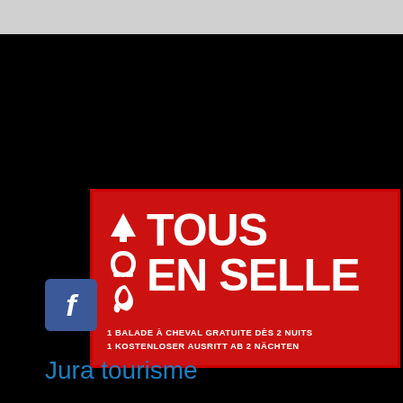[Figure (logo): Tous en Selle promotional banner on red background with white icons (tree, horseshoe, horse head) and text 'TOUS EN SELLE', '1 BALADE À CHEVAL GRATUITE DÈS 2 NUITS', '1 KOSTENLOSER AUSRITT AB 2 NÄCHTEN']
[Figure (logo): Facebook logo icon — white 'f' on blue square background]
Jura tourisme